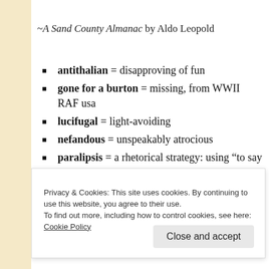~A Sand County Almanac by Aldo Leopold
antithalian = disapproving of fun
gone for a burton = missing, from WWII RAF usa
lucifugal = light-avoiding
nefandous = unspeakably atrocious
paralipsis = a rhetorical strategy: using “to say no to something
Privacy & Cookies: This site uses cookies. By continuing to use this website, you agree to their use.
To find out more, including how to control cookies, see here: Cookie Policy